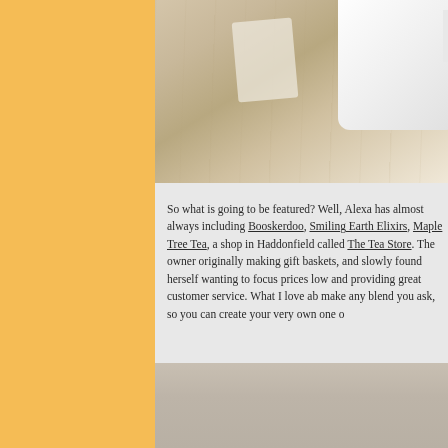[Figure (photo): Photo of a white ceramic tea cup/mug on a wooden table surface, with a tea bag or small package visible beside it. Image is cropped showing top portion.]
So what is going to be featured? Well, Alexa has almost always including Booskerdoo, Smiling Earth Elixirs, Maple Tree Tea, a shop in Haddonfield called The Tea Store. The owner originally making gift baskets, and slowly found herself wanting to focus prices low and providing great customer service. What I love ab make any blend you ask, so you can create your very own one o
[Figure (photo): Bottom portion of a photo, showing a muted beige/taupe background, likely continuation of a tea-related image.]